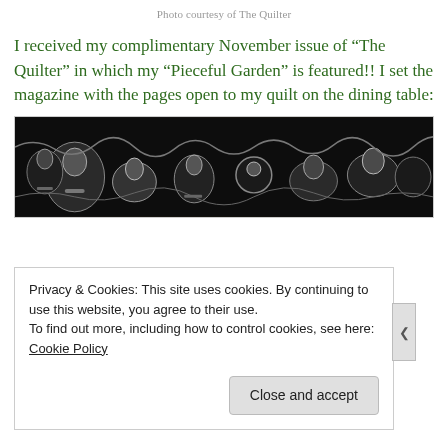Photo courtesy of The Quilter
I received my complimentary November issue of “The Quilter” in which my “Pieceful Garden” is featured!! I set the magazine with the pages open to my quilt on the dining table:
[Figure (photo): A dark photograph showing silver objects (teapots, pitchers, cups, and decorative items) arranged on a dining table, as seen in a magazine spread.]
Privacy & Cookies: This site uses cookies. By continuing to use this website, you agree to their use.
To find out more, including how to control cookies, see here: Cookie Policy
Close and accept